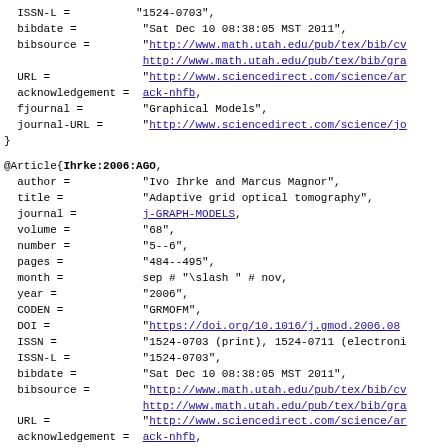ISSN-L = "1524-0703",
  bibdate = "Sat Dec 10 08:38:05 MST 2011",
  bibsource = "http://www.math.utah.edu/pub/tex/bib/cv...
              http://www.math.utah.edu/pub/tex/bib/gra...
  URL = "http://www.sciencedirect.com/science/ar...
  acknowledgement = ack-nhfb,
  fjournal = "Graphical Models",
  journal-URL = "http://www.sciencedirect.com/science/jo...
}
@Article{Ihrke:2006:AGO,
  author = "Ivo Ihrke and Marcus Magnor",
  title = "Adaptive grid optical tomography",
  journal = j-GRAPH-MODELS,
  volume = "68",
  number = "5--6",
  pages = "484--495",
  month = sep # "\slash " # nov,
  year = "2006",
  CODEN = "GRMOFM",
  DOI = "https://doi.org/10.1016/j.gmod.2006.08...
  ISSN = "1524-0703 (print), 1524-0711 (electroni...
  ISSN-L = "1524-0703",
  bibdate = "Sat Dec 10 08:38:05 MST 2011",
  bibsource = "http://www.math.utah.edu/pub/tex/bib/cv...
              http://www.math.utah.edu/pub/tex/bib/gra...
  URL = "http://www.sciencedirect.com/science/ar...
  acknowledgement = ack-nhfb,
  fjournal = "Graphical Models",
  journal-URL = "http://www.sciencedirect.com/science/jo...